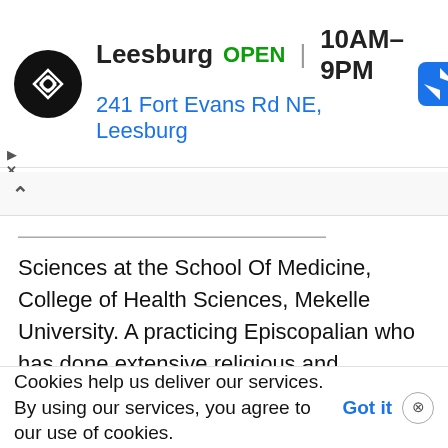[Figure (screenshot): Advertisement banner for a store in Leesburg showing logo, OPEN status, hours 10AM-9PM, address 241 Fort Evans Rd NE Leesburg, and navigation icon]
Sciences at the School Of Medicine, College of Health Sciences, Mekelle University. A practicing Episcopalian who has done extensive religious and theological studies he also reflects on their implications in his life having spent the past decade in Ethiopia. Professor Tony Magaña also serves a developmental and educational consultant to industry, NGOs, and educational entities. In this blog he writes about neurosurgery, medical humanity, and
Cookies help us deliver our services. By using our services, you agree to our use of cookies. Got it